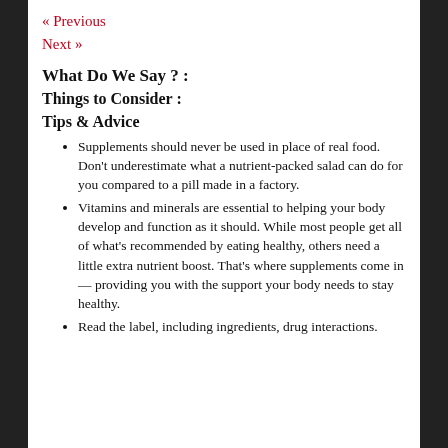« Previous
Next »
What Do We Say ? :
Things to Consider :
Tips & Advice
Supplements should never be used in place of real food. Don't underestimate what a nutrient-packed salad can do for you compared to a pill made in a factory.
Vitamins and minerals are essential to helping your body develop and function as it should. While most people get all of what's recommended by eating healthy, others need a little extra nutrient boost. That's where supplements come in — providing you with the support your body needs to stay healthy.
Read the label, including ingredients, drug interactions.